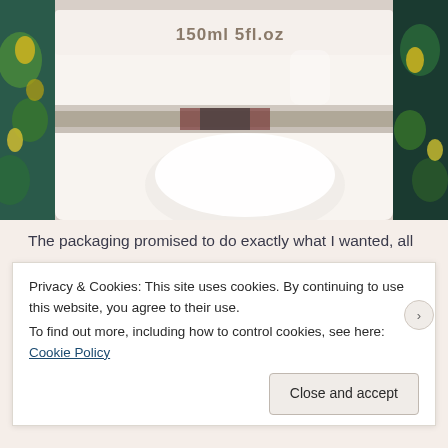[Figure (photo): Close-up photo of a white cosmetic product container (lotion/cream bottle) with '150ml 5fl.oz' text visible on top, silver/metallic band around the middle, against a colorful floral fabric background in teal and yellow]
The packaging promised to do exactly what I wanted, all while being suitable for sensitive skin! Perfect. It contains menthol, which gives it this gorgeously refreshing, tingly feeling, and I haven't had any irritation from it at all. My skin has improved in softness SO MUCH. This was what I started using when I gave up
Privacy & Cookies: This site uses cookies. By continuing to use this website, you agree to their use.
To find out more, including how to control cookies, see here: Cookie Policy
Close and accept